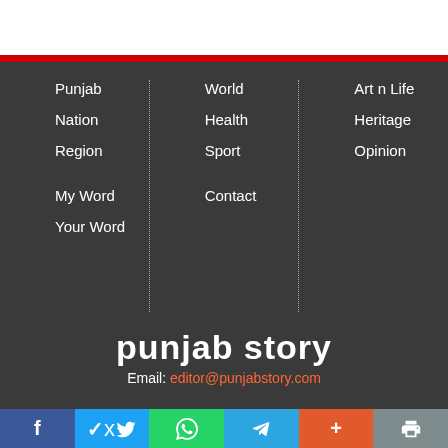Punjab
Nation
Region
My Word
Your Word
World
Health
Sport
Contact
Art n Life
Heritage
Opinion
punjab story
Email: editor@punjabstory.com
f  Twitter  WhatsApp  Telegram  +  Print